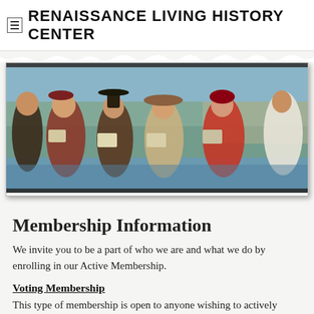RENAISSANCE LIVING HISTORY CENTER
[Figure (photo): Group of performers in Renaissance/medieval costumes singing outdoors near a lake, holding songbooks or sheet music. Several people wearing elaborate period dress including hats, ruffs, and colorful garments.]
Membership Information
We invite you to be a part of who we are and what we do by enrolling in our Active Membership.
Voting Membership
This type of membership is open to anyone wishing to actively participate in RLHC during the year.  There is an organizational commitment of 6 hours per year and